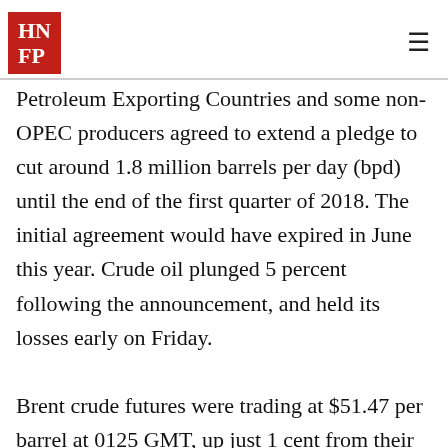HN FP
Petroleum Exporting Countries and some non-OPEC producers agreed to extend a pledge to cut around 1.8 million barrels per day (bpd) until the end of the first quarter of 2018. The initial agreement would have expired in June this year. Crude oil plunged 5 percent following the announcement, and held its losses early on Friday.

Brent crude futures were trading at $51.47 per barrel at 0125 GMT, up just 1 cent from their